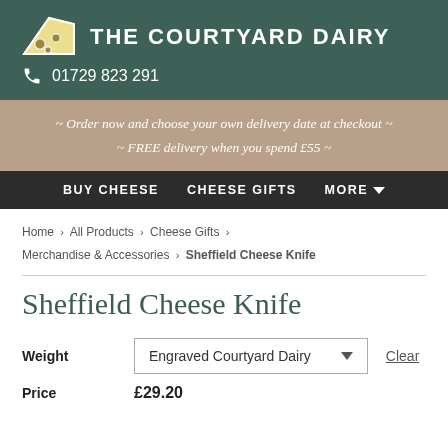THE COURTYARD DAIRY  01729 823 291
~ Order now and choose your own delivery date at checkout ~ FREE delivery when you spend £55 ~
BUY CHEESE  CHEESE GIFTS  MORE
Home > All Products > Cheese Gifts > Merchandise & Accessories > Sheffield Cheese Knife
Sheffield Cheese Knife
Weight  Engraved Courtyard Dairy  Clear
Price  £29.20